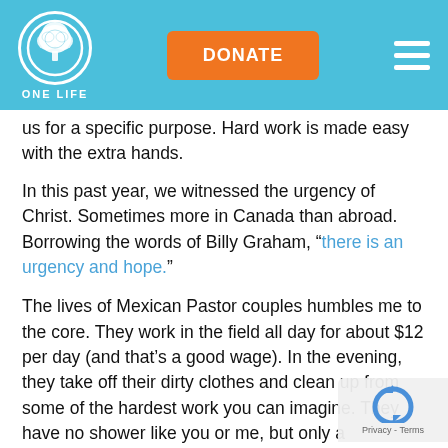[Figure (logo): One Life organization logo with tree icon in a circle and 'ONE LIFE' text below, on a light blue header bar with an orange DONATE button and hamburger menu icon]
us for a specific purpose. Hard work is made easy with the extra hands.
In this past year, we witnessed the urgency of Christ. Sometimes more in Canada than abroad. Borrowing the words of Billy Graham, “there is an urgency and hope.”
The lives of Mexican Pastor couples humbles me to the core. They work in the field all day for about $12 per day (and that’s a good wage). In the evening, they take off their dirty clothes and clean up from some of the hardest work you can imagine. They have no shower like you or me, but only a washbasin at the edge of their yard. Grabbing a guitar that is missing 2 of strings, a few vegetables, and some small treats can’t afford, they joyfully walk out of their house to